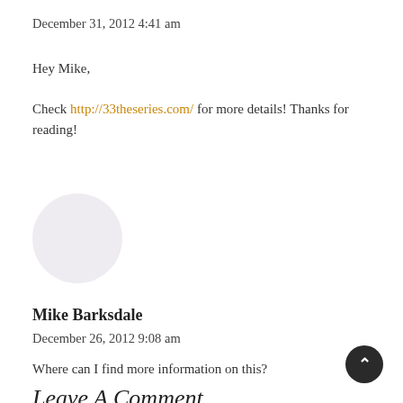December 31, 2012 4:41 am
Hey Mike,
Check http://33theseries.com/ for more details! Thanks for reading!
[Figure (illustration): Circular avatar placeholder with light grey/lavender fill]
Mike Barksdale
December 26, 2012 9:08 am
Where can I find more information on this?
Leave A Comment